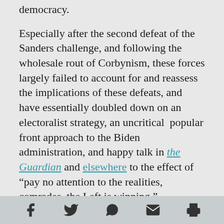democracy.
Especially after the second defeat of the Sanders challenge, and following the wholesale rout of Corbynism, these forces largely failed to account for and reassess the implications of these defeats, and have essentially doubled down on an electoralist strategy, an uncritical  popular front approach to the Biden administration, and happy talk in the Guardian and elsewhere to the effect of “pay no attention to the realities, comrades, the Left is winning.”
The second approach is a model of so-called “base-building” that defers the importance of organizing for revolutionary politics in the here
Social share icons: Facebook, Twitter, WhatsApp, Email, Print